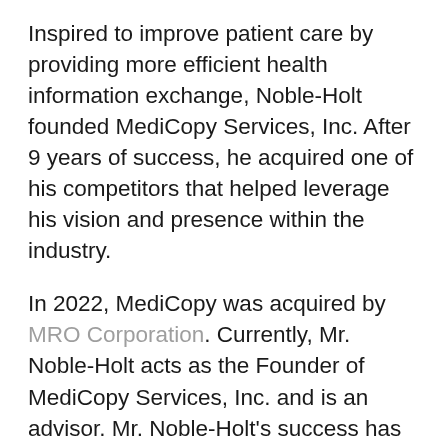Inspired to improve patient care by providing more efficient health information exchange, Noble-Holt founded MediCopy Services, Inc. After 9 years of success, he acquired one of his competitors that helped leverage his vision and presence within the industry.
In 2022, MediCopy was acquired by MRO Corporation. Currently, Mr. Noble-Holt acts as the Founder of MediCopy Services, Inc. and is an advisor. Mr. Noble-Holt's success has contributed to his continuing effort to create a client-centric environment while offering a valuable solution to healthcare providers across the country. Today, MediCopy provides HIM solutions to over 4,000+ healthcare